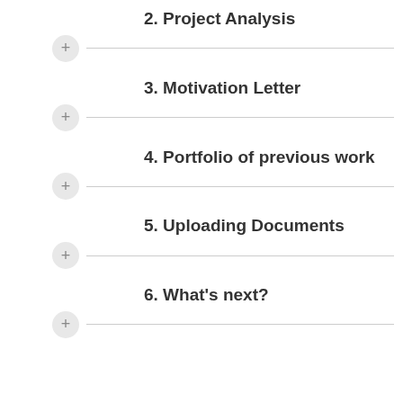2. Project Analysis
3. Motivation Letter
4. Portfolio of previous work
5. Uploading Documents
6. What's next?